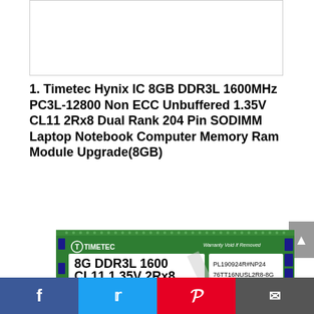[Figure (photo): Empty white product image placeholder with thin border]
1. Timetec Hynix IC 8GB DDR3L 1600MHz PC3L-12800 Non ECC Unbuffered 1.35V CL11 2Rx8 Dual Rank 204 Pin SODIMM Laptop Notebook Computer Memory Ram Module Upgrade(8GB)
[Figure (photo): Photo of Timetec 8G DDR3L 1600 CL11 1.35V 2Rx8 SODIMM RAM module, green PCB with label showing PL190924R#NP24 76TT16NUSL2R8-8G]
Facebook | Twitter | Pinterest | Email